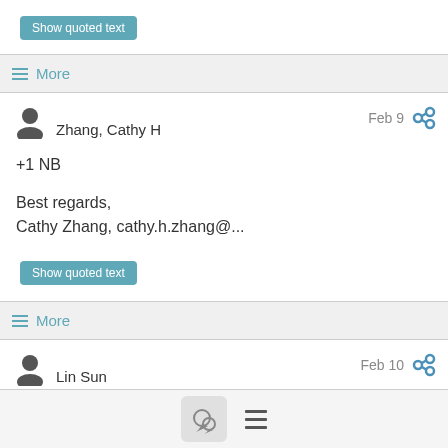Show quoted text
More
Zhang, Cathy H
Feb 9
+1 NB
Best regards,
Cathy Zhang, cathy.h.zhang@...
Show quoted text
More
Lin Sun
Feb 10